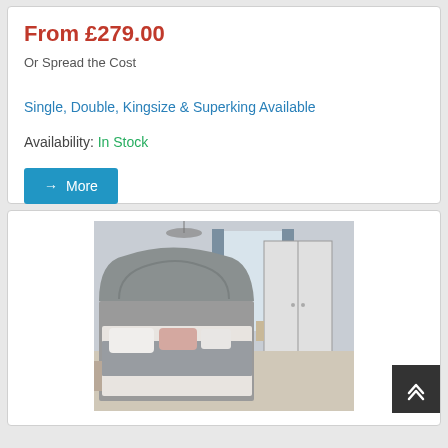From £279.00
Or Spread the Cost
Single, Double, Kingsize & Superking Available
Availability: In Stock
→ More
[Figure (photo): Bedroom scene showing a grey upholstered bed frame with decorative headboard, pink and grey pillows, grey throw blanket, and a tall white wardrobe in the background with a chandelier and blue curtains.]